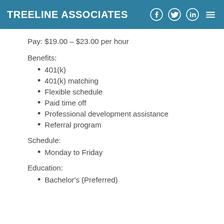TREELINE ASSOCIATES
Pay: $19.00 – $23.00 per hour
Benefits:
401(k)
401(k) matching
Flexible schedule
Paid time off
Professional development assistance
Referral program
Schedule:
Monday to Friday
Education:
Bachelor's (Preferred)